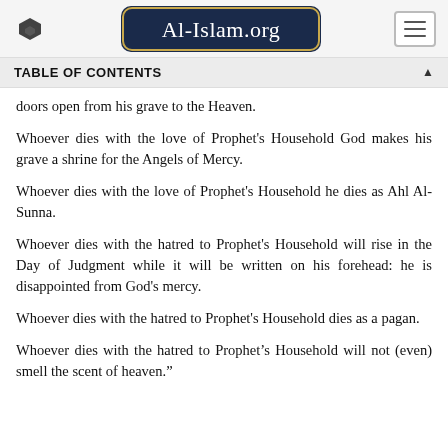Al-Islam.org
TABLE OF CONTENTS
doors open from his grave to the Heaven.
Whoever dies with the love of Prophet's Household God makes his grave a shrine for the Angels of Mercy.
Whoever dies with the love of Prophet's Household he dies as Ahl Al-Sunna.
Whoever dies with the hatred to Prophet's Household will rise in the Day of Judgment while it will be written on his forehead: he is disappointed from God's mercy.
Whoever dies with the hatred to Prophet's Household dies as a pagan.
Whoever dies with the hatred to Prophet's Household will not (even) smell the scent of heaven.”